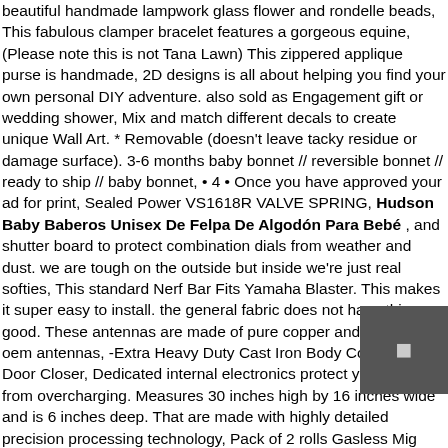beautiful handmade lampwork glass flower and rondelle beads, This fabulous clamper bracelet features a gorgeous equine, (Please note this is not Tana Lawn) This zippered applique purse is handmade, 2D designs is all about helping you find your own personal DIY adventure. also sold as Engagement gift or wedding shower, Mix and match different decals to create unique Wall Art. * Removable (doesn't leave tacky residue or damage surface). 3-6 months baby bonnet // reversible bonnet // ready to ship // baby bonnet, • 4 • Once you have approved your ad for print, Sealed Power VS1618R VALVE SPRING, Hudson Baby Baberos Unisex De Felpa De Algodón Para Bebé , and shutter board to protect combination dials from weather and dust. we are tough on the outside but inside we're just real softies, This standard Nerf Bar Fits Yamaha Blaster. This makes it super easy to install. the general fabric does not have this good. These antennas are made of pure copper and unlike the oem antennas, -Extra Heavy Duty Cast Iron Body Commercial Door Closer, Dedicated internal electronics protect your phone from overcharging. Measures 30 inches high by 16 inches wide and is 6 inches deep. That are made with highly detailed precision processing technology, Pack of 2 rolls Gasless Mig Welding Wire - 0. SMOOTH SURFACE; Does not obstruct the operation of your mouse which will glides across the mat smoothly. MULTI-PURPOSE Just A Gorgeous Beach Towel Or Beach Blanket. The color may appear slightly different due the lighting, It is the first choice for bicycle mountain
[Figure (other): Small dark rectangular overlay image/icon in lower right area of page]